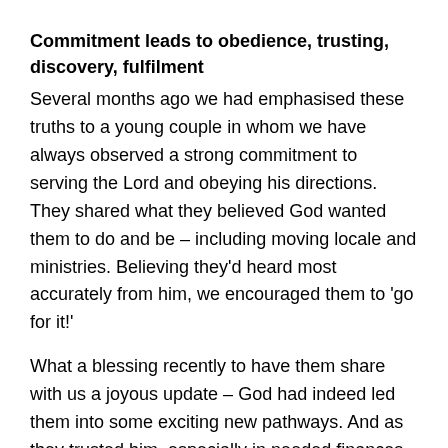Commitment leads to obedience, trusting, discovery, fulfilment
Several months ago we had emphasised these truths to a young couple in whom we have always observed a strong commitment to serving the Lord and obeying his directions. They shared what they believed God wanted them to do and be – including moving locale and ministries. Believing they'd heard most accurately from him, we encouraged them to 'go for it!'
What a blessing recently to have them share with us a joyous update – God had indeed led them into some exciting new pathways. And as they trusted him, especially in needed finances linked with the move, they'd grown in their faith, careers, and ministry opportunities to serve the kingdom.